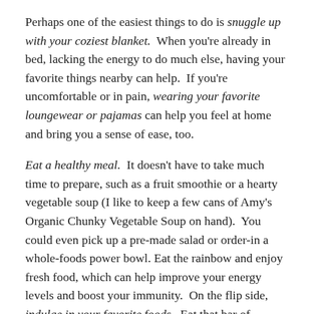Perhaps one of the easiest things to do is snuggle up with your coziest blanket. When you're already in bed, lacking the energy to do much else, having your favorite things nearby can help. If you're uncomfortable or in pain, wearing your favorite loungewear or pajamas can help you feel at home and bring you a sense of ease, too.
Eat a healthy meal. It doesn't have to take much time to prepare, such as a fruit smoothie or a hearty vegetable soup (I like to keep a few cans of Amy's Organic Chunky Vegetable Soup on hand). You could even pick up a pre-made salad or order-in a whole-foods power bowl. Eat the rainbow and enjoy fresh food, which can help improve your energy levels and boost your immunity. On the flip side, indulge in your favorite foods. Eat that bar of